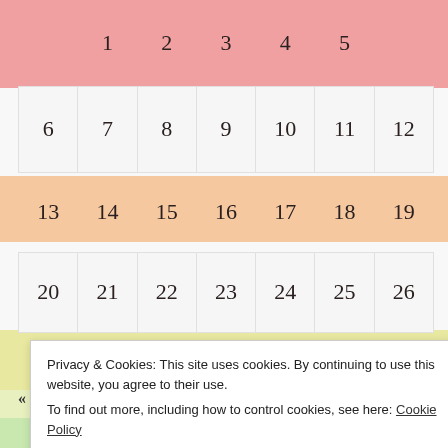| Sun | Mon | Tue | Wed | Thu | Fri | Sat |
| --- | --- | --- | --- | --- | --- | --- |
|  | 1 | 2 | 3 | 4 | 5 |  |
| 6 | 7 | 8 | 9 | 10 | 11 | 12 |
| 13 | 14 | 15 | 16 | 17 | 18 | 19 |
| 20 | 21 | 22 | 23 | 24 | 25 | 26 |
| 27 | 28 | 29 | 30 | 31 |  |  |
« Feb   Apr »
Privacy & Cookies: This site uses cookies. By continuing to use this website, you agree to their use.
To find out more, including how to control cookies, see here: Cookie Policy
Close and accept